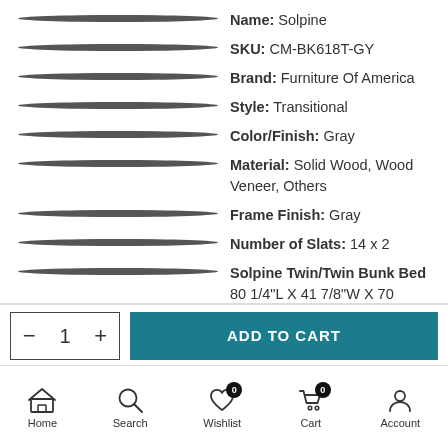Name: Solpine
SKU: CM-BK618T-GY
Brand: Furniture Of America
Style: Transitional
Color/Finish: Gray
Material: Solid Wood, Wood Veneer, Others
Frame Finish: Gray
Number of Slats: 14 x 2
Solpine Twin/Twin Bunk Bed 80 1/4"L X 41 7/8"W X 70 1/2"H
ADD TO CART